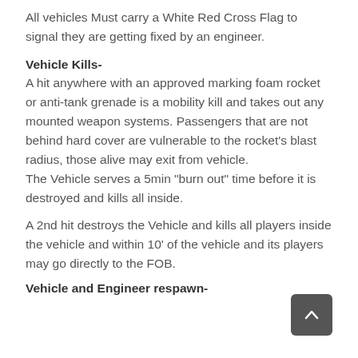All vehicles Must carry a White Red Cross Flag to signal they are getting fixed by an engineer.
Vehicle Kills-
A hit anywhere with an approved marking foam rocket or anti-tank grenade is a mobility kill and takes out any mounted weapon systems. Passengers that are not behind hard cover are vulnerable to the rocket’s blast radius, those alive may exit from vehicle.
The Vehicle serves a 5min “burn out” time before it is destroyed and kills all inside.
A 2nd hit destroys the Vehicle and kills all players inside the vehicle and within 10’ of the vehicle and its players may go directly to the FOB.
Vehicle and Engineer respawn-